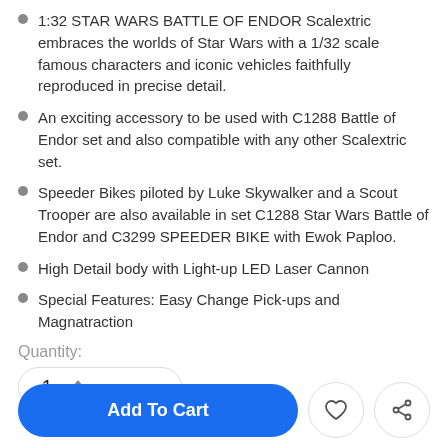1:32 STAR WARS BATTLE OF ENDOR Scalextric embraces the worlds of Star Wars with a 1/32 scale famous characters and iconic vehicles faithfully reproduced in precise detail.
An exciting accessory to be used with C1288 Battle of Endor set and also compatible with any other Scalextric set.
Speeder Bikes piloted by Luke Skywalker and a Scout Trooper are also available in set C1288 Star Wars Battle of Endor and C3299 SPEEDER BIKE with Ewok Paploo.
High Detail body with Light-up LED Laser Cannon
Special Features: Easy Change Pick-ups and Magnatraction
Quantity:
[Figure (screenshot): Quantity selector showing value 1 with up/down arrows, inside a rounded pill-shaped border]
[Figure (screenshot): Add To Cart button (blue rounded rectangle) with heart icon and share icon buttons to the right]